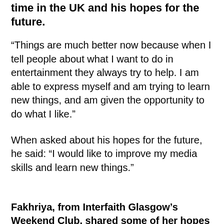time in the UK and his hopes for the future.
“Things are much better now because when I tell people about what I want to do in entertainment they always try to help. I am able to express myself and am trying to learn new things, and am given the opportunity to do what I like.”
When asked about his hopes for the future, he said: “I would like to improve my media skills and learn new things.”
Fakhriya, from Interfaith Glasgow’s Weekend Club, shared some of her hopes for